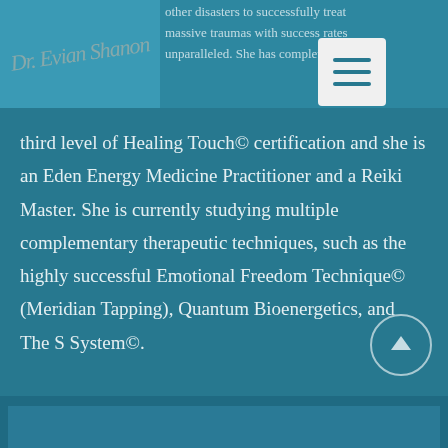[Figure (other): Partial view of a signature overlay on a teal/blue header area with a white menu (hamburger) button in the top right corner]
other disasters to successfully treat massive traumas with success rates unparalleled. She has completed the third level of Healing Touch© certification and she is an Eden Energy Medicine Practitioner and a Reiki Master. She is currently studying multiple complementary therapeutic techniques, such as the highly successful Emotional Freedom Technique© (Meridian Tapping), Quantum Bioenergetics, and The S… System©.